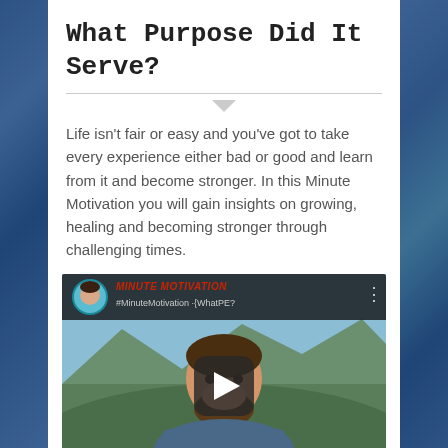What Purpose Did It Serve?
Life isn't fair or easy and you've got to take every experience either bad or good and learn from it and become stronger. In this Minute Motivation you will gain insights on growing, healing and becoming stronger through challenging times.
[Figure (screenshot): Embedded YouTube video thumbnail showing a man smiling outdoors with mountains in background. Video title bar shows 'Minute Motivation' in red italic text and '#MinuteMotivation - {WhatPE?' subtitle. A play button overlay is shown in the center.]